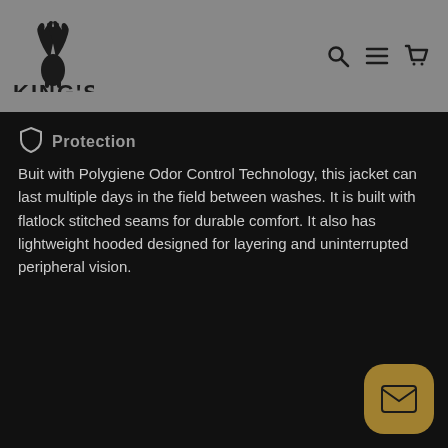[Figure (logo): King's outdoor brand logo with elk antler illustration above the text KING'S]
[Figure (other): Navigation icons: search magnifier, hamburger menu, shopping cart]
[Figure (other): Shield icon next to Protection section header]
Protection
Buit with Polygiene Odor Control Technology, this jacket can last multiple days in the field between washes. It is built with flatlock stitched seams for durable comfort. It also has lightweight hooded designed for layering and uninterrupted peripheral vision.
[Figure (other): Gold mail/envelope button in bottom right corner]